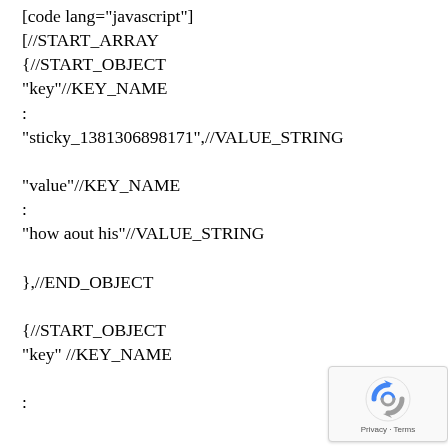[code lang="javascript"]
[//START_ARRAY
{//START_OBJECT
"key"//KEY_NAME
:
"sticky_1381306898171",//VALUE_STRING

"value"//KEY_NAME
:
"how aout his"//VALUE_STRING

},//END_OBJECT

{//START_OBJECT
"key" //KEY_NAME

:
[Figure (other): reCAPTCHA privacy badge widget in bottom right corner showing a circular arrow logo and 'Privacy - Terms' text]